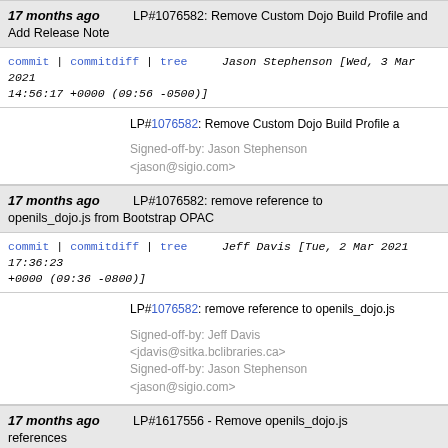17 months ago | LP#1076582: Remove Custom Dojo Build Profile and Add Release Note
commit | commitdiff | tree   Jason Stephenson [Wed, 3 Mar 2021 14:56:17 +0000 (09:56 -0500)]
LP#1076582: Remove Custom Dojo Build Profile a...
Signed-off-by: Jason Stephenson <jason@sigio.com>
17 months ago | LP#1076582: remove reference to openils_dojo.js from Bootstrap OPAC
commit | commitdiff | tree   Jeff Davis [Tue, 2 Mar 2021 17:36:23 +0000 (09:36 -0800)]
LP#1076582: remove reference to openils_dojo.js...
Signed-off-by: Jeff Davis <jdavis@sitka.bclibraries.ca>
Signed-off-by: Jason Stephenson <jason@sigio.com>
17 months ago | LP#1617556 - Remove openils_dojo.js references
commit | commitdiff | tree   Chris Sharp [Sat, 27 Aug 2016 12:02:11 +0000 (08:02 -0400)]
LP#1617556 - Remove openils_dojo.js references